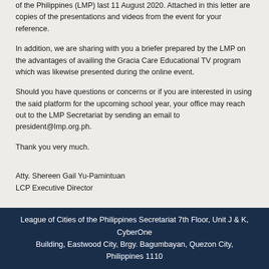of the Philippines (LMP) last 11 August 2020. Attached in this letter are copies of the presentations and videos from the event for your reference.
In addition, we are sharing with you a briefer prepared by the LMP on the advantages of availing the Gracia Care Educational TV program which was likewise presented during the online event.
Should you have questions or concerns or if you are interested in using the said platform for the upcoming school year, your office may reach out to the LMP Secretariat by sending an email to president@lmp.org.ph.
Thank you very much.
Atty. Shereen Gail Yu-Pamintuan
LCP Executive Director
League of Cities of the Philippines Secretariat 7th Floor, Unit J & K, CyberOne Building, Eastwood City, Brgy. Bagumbayan, Quezon City, Philippines 1110